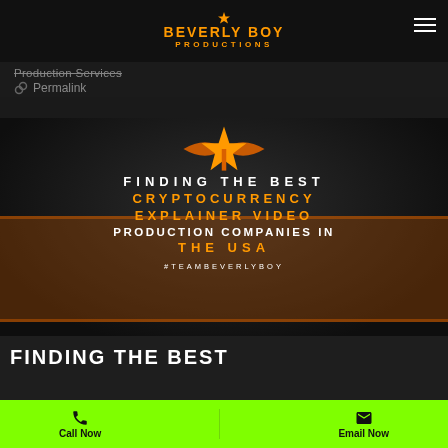[Figure (logo): Beverly Boy Productions logo with orange star and text]
Production Services
⚇ Permalink
[Figure (photo): Hero banner with orange star graphic and text: FINDING THE BEST CRYPTOCURRENCY EXPLAINER VIDEO PRODUCTION COMPANIES IN THE USA #TEAMBEVERLYBOY]
FINDING THE BEST
Call Now
Email Now